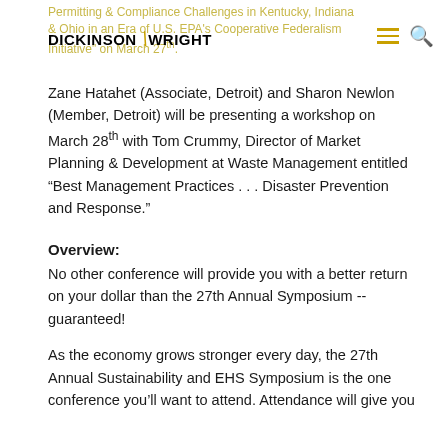Permitting & Compliance Challenges in Kentucky, Indiana & Ohio in an Era of U.S. EPA's Cooperative Federalism Initiative" on March 27th.
Zane Hatahet (Associate, Detroit) and Sharon Newlon (Member, Detroit) will be presenting a workshop on March 28th with Tom Crummy, Director of Market Planning & Development at Waste Management entitled “Best Management Practices . . . Disaster Prevention and Response.”
Overview:
No other conference will provide you with a better return on your dollar than the 27th Annual Symposium -- guaranteed!
As the economy grows stronger every day, the 27th Annual Sustainability and EHS Symposium is the one conference you’ll want to attend. Attendance will give you